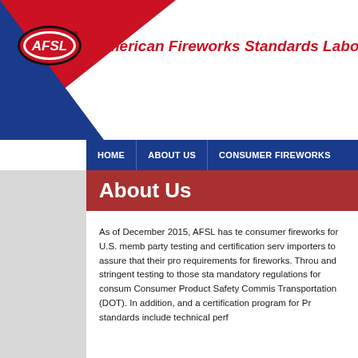[Figure (logo): AFSL logo with red oval badge containing white AFSL text, alongside red triangle and blue triangle background shapes]
American Fireworks Standards Laboratory
HOME | ABOUT US | CONSUMER FIREWORKS
About Us
As of December 2015, AFSL has te consumer fireworks for U.S. memb party testing and certification serv importers to assure that their pro requirements for fireworks. Throu and stringent testing to those sta mandatory regulations for consum Consumer Product Safety Commis Transportation (DOT). In addition, and a certification program for Pr standards include technical perf